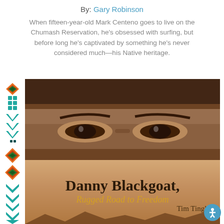By: Gary Robinson
When fifteen-year-old Mark Centeno goes to live on the Chumash Reservation, he's obsessed with surfing, but before long he's captivated by something he's never considered much—his Native heritage.
[Figure (illustration): Book cover for 'Danny Blackgoat, Rugged Road to Freedom' by Tim Tingle. Top portion shows a sepia-toned close-up photograph of a person's eyes beneath a hat brim. Bottom portion shows the book title in dark serif font on a warm tan/golden background with mountain silhouettes at the bottom. A decorative Native American beaded border runs along the left side. An accessibility icon button appears in the bottom right corner.]